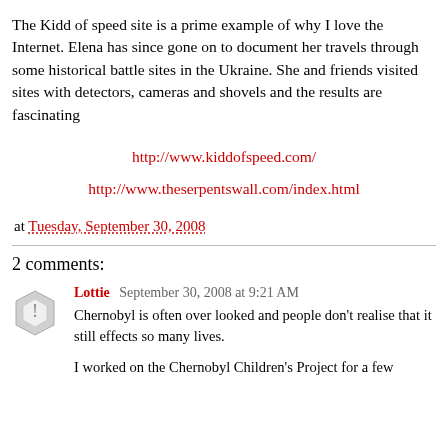The Kidd of speed site is a prime example of why I love the Internet. Elena has since gone on to document her travels through some historical battle sites in the Ukraine. She and friends visited sites with detectors, cameras and shovels and the results are fascinating
http://www.kiddofspeed.com/
http://www.theserpentswall.com/index.html
at Tuesday, September 30, 2008
2 comments:
Lottie  September 30, 2008 at 9:21 AM
Chernobyl is often over looked and people don't realise that it still effects so many lives.
I worked on the Chernobyl Children's Project for a few